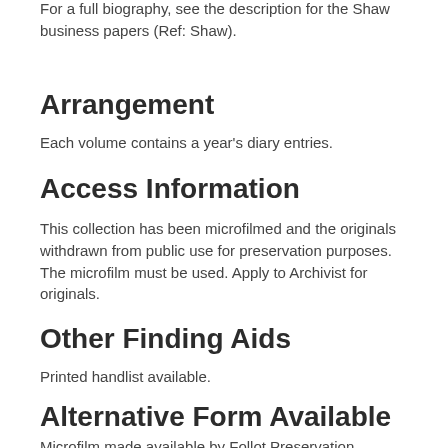For a full biography, see the description for the Shaw business papers (Ref: Shaw).
Arrangement
Each volume contains a year's diary entries.
Access Information
This collection has been microfilmed and the originals withdrawn from public use for preservation purposes. The microfilm must be used. Apply to Archivist for originals.
Other Finding Aids
Printed handlist available.
Alternative Form Available
Microfilm made available by Follot Preservation